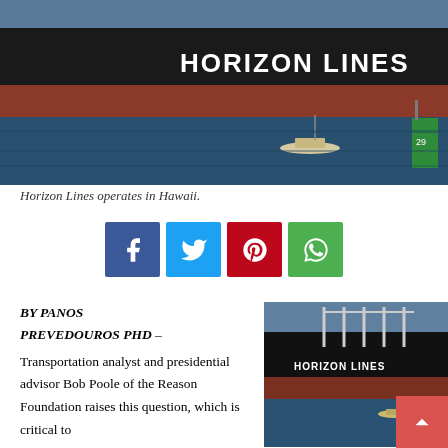[Figure (photo): Large cargo ship with 'HORIZON LINES' text on hull, photographed from water level with a smaller boat and green channel marker buoy visible]
Horizon Lines operates in Hawaii.
[Figure (infographic): Row of four social media sharing buttons: Facebook (blue), Twitter (light blue), Pinterest (red), WhatsApp (green)]
BY PANOS PREVEDOUROS PHD – Transportation analyst and presidential advisor Bob Poole of the Reason Foundation raises this question, which is critical to
[Figure (photo): Horizon Lines cargo ship at dock with cranes visible, smaller boat in water, green buoy in foreground]